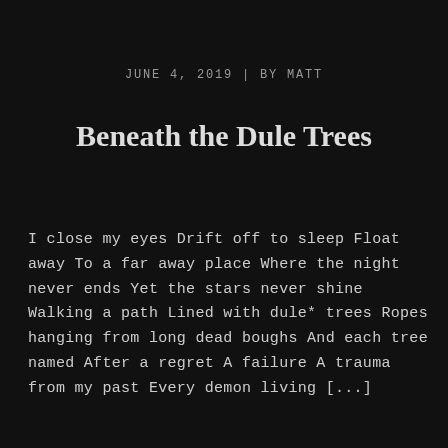JUNE 4, 2019  |  BY MATT
Beneath the Dule Trees
I close my eyes Drift off to sleep Float away To a far away place Where the night never ends Yet the stars never shine Walking a path Lined with dule* trees Ropes hanging from long dead boughs And each tree named After a regret A failure A trauma from my past Every demon living [...]